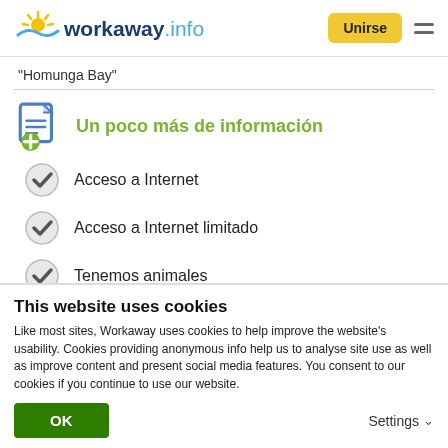workaway.info — Unirse
"Homunga Bay"
Un poco más de información
Acceso a Internet
Acceso a Internet limitado
Tenemos animales
Somos fumadores
This website uses cookies
Like most sites, Workaway uses cookies to help improve the website's usability. Cookies providing anonymous info help us to analyse site use as well as improve content and present social media features.  You consent to our cookies if you continue to use our website.
OK  Settings